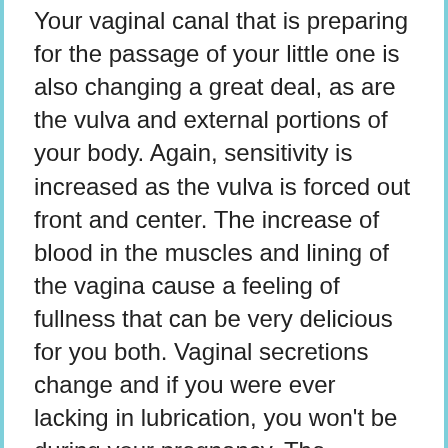Your vaginal canal that is preparing for the passage of your little one is also changing a great deal, as are the vulva and external portions of your body. Again, sensitivity is increased as the vulva is forced out front and center. The increase of blood in the muscles and lining of the vagina cause a feeling of fullness that can be very delicious for you both. Vaginal secretions change and if you were ever lacking in lubrication, you won't be during your pregnancy. The increase in snugness that comes through the fullness of the vaginal canal along with the added lubrication can really